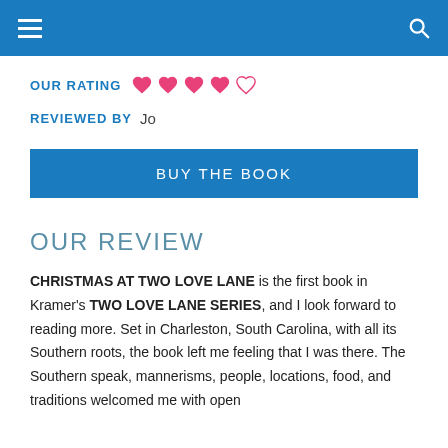Navigation bar with hamburger menu and search icon
OUR RATING ♥♥♥♥♡
REVIEWED BY  Jo
BUY THE BOOK
OUR REVIEW
CHRISTMAS AT TWO LOVE LANE is the first book in Kramer's TWO LOVE LANE SERIES, and I look forward to reading more. Set in Charleston, South Carolina, with all its Southern roots, the book left me feeling that I was there. The Southern speak, mannerisms, people, locations, food, and traditions welcomed me with open